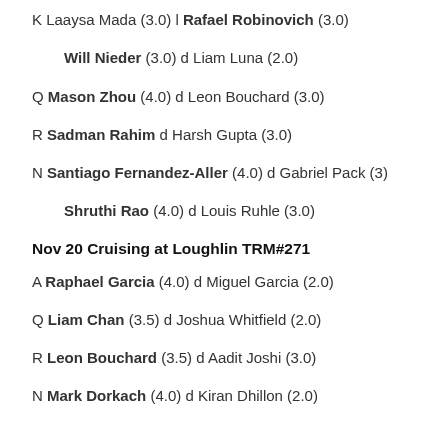K Laaysa Mada (3.0) l Rafael Robinovich (3.0)
Will Nieder (3.0) d Liam Luna (2.0)
Q Mason Zhou (4.0) d Leon Bouchard (3.0)
R Sadman Rahim d Harsh Gupta (3.0)
N Santiago Fernandez-Aller (4.0) d Gabriel Pack (3)
Shruthi Rao (4.0) d Louis Ruhle (3.0)
Nov 20 Cruising at Loughlin TRM#271
A Raphael Garcia (4.0) d Miguel Garcia (2.0)
Q Liam Chan (3.5) d Joshua Whitfield (2.0)
R Leon Bouchard (3.5) d Aadit Joshi (3.0)
N Mark Dorkach (4.0) d Kiran Dhillon (2.0)